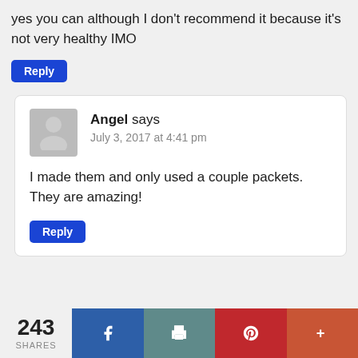yes you can although I don't recommend it because it's not very healthy IMO
Reply
Angel says
July 3, 2017 at 4:41 pm
I made them and only used a couple packets. They are amazing!
Reply
243 SHARES